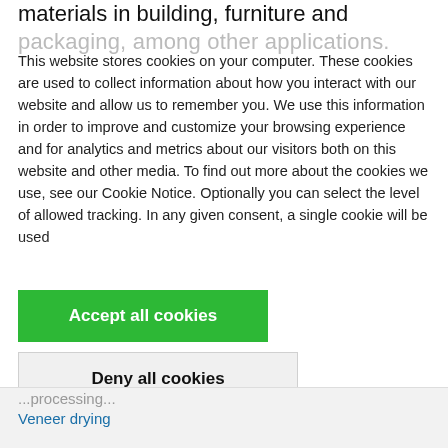materials in building, furniture and packaging, among other applications.
This website stores cookies on your computer. These cookies are used to collect information about how you interact with our website and allow us to remember you. We use this information in order to improve and customize your browsing experience and for analytics and metrics about our visitors both on this website and other media. To find out more about the cookies we use, see our Cookie Notice. Optionally you can select the level of allowed tracking. In any given consent, a single cookie will be used
Accept all cookies
Deny all cookies
Cookie settings
...processing...
Veneer drying